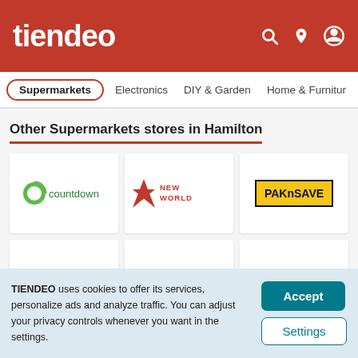tiendeo
Other Supermarkets stores in Hamilton
[Figure (logo): Countdown supermarket logo - green circular icon with 'countdown' text]
[Figure (logo): New World supermarket logo - red diamond icon with 'NEW WORLD' text]
[Figure (logo): PAKnSAVE logo - yellow background with black bold text]
[Figure (logo): LiquorLand logo - bold black text]
[Figure (logo): Super Liquor logo - red italic Super with blue Liquor text]
[Figure (logo): Gilmours logo - red flag with gilmours text]
TIENDEO uses cookies to offer its services, personalize ads and analyze traffic. You can adjust your privacy controls whenever you want in the settings.